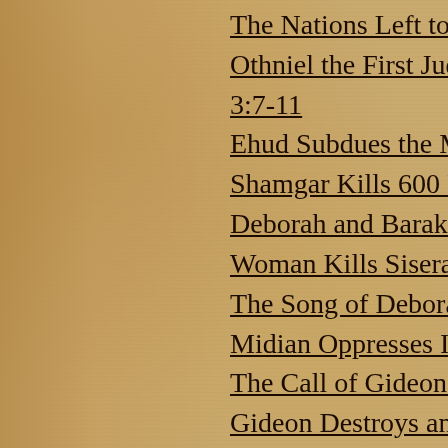The Nations Left to Tes...
Othniel the First Judge, 3:7-11
Ehud Subdues the Moab...
Shamgar Kills 600 Phil...
Deborah and Barak Sub...
Woman Kills Sisera  4:...
The Song of Deborah an...
Midian Oppresses Israe...
The Call of Gideon  6:...
Gideon Destroys an Alt... 32
Gideon Summons an Ar...